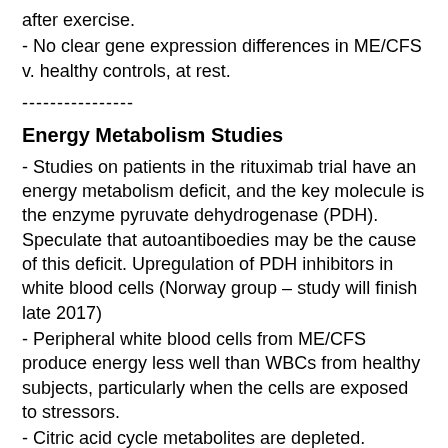after exercise.
- No clear gene expression differences in ME/CFS v. healthy controls, at rest.
----------------
Energy Metabolism Studies
- Studies on patients in the rituximab trial have an energy metabolism deficit, and the key molecule is the enzyme pyruvate dehydrogenase (PDH). Speculate that autoantiboedies may be the cause of this deficit. Upregulation of PDH inhibitors in white blood cells (Norway group – study will finish late 2017)
- Peripheral white blood cells from ME/CFS produce energy less well than WBCs from healthy subjects, particularly when the cells are exposed to stressors.
- Citric acid cycle metabolites are depleted. Glucose as an energy source is being replaced by fatty acids and amino acids
- "Unbiased" metabolomics study finds that the metabolites that are most different between ME/CFS and healthy